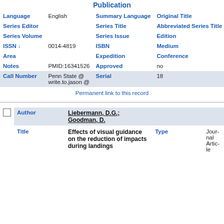Publication
| Field | Value | Field | Value |
| --- | --- | --- | --- |
| Language | English | Summary Language | Original Title |
| Series Editor |  | Series Title | Abbreviated Series Title |
| Series Volume |  | Series Issue | Edition |
| ISSN ↓ | 0014-4819 | ISBN | Medium |
| Area |  | Expedition | Conference |
| Notes | PMID:16341526 | Approved | no |
| Call Number | Penn State @ write.to.jason @ | Serial | 18 |
Permanent link to this record
| Author | Liebermann, D.G.; Goodman, D. |
| --- | --- |
| Title | Effects of visual guidance on the reduction of impacts during landings | Type | Journal Article |